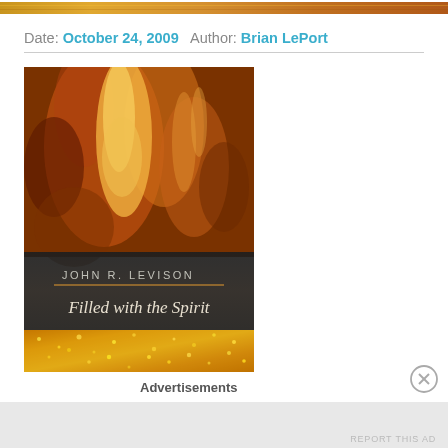[Figure (illustration): Top decorative banner with warm amber/brown gradient tones, appears to be a cropped portion of the book cover image]
Date: October 24, 2009   Author: Brian LePort
[Figure (photo): Book cover of 'Filled with the Spirit' by John R. Levison. The cover features dramatic fiery orange/amber flames at the top and golden sparkly texture at the bottom, with a dark semi-transparent band in the middle showing the author name 'JOHN R. LEVISON' and title 'Filled with the Spirit']
Advertisements